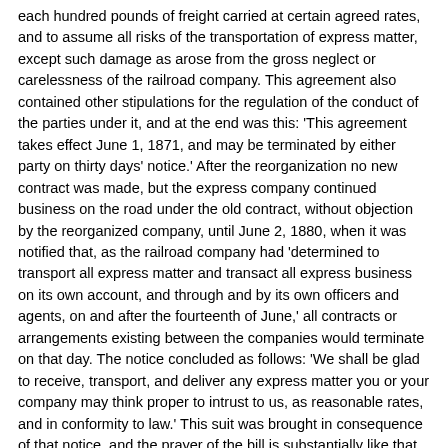each hundred pounds of freight carried at certain agreed rates, and to assume all risks of the transportation of express matter, except such damage as arose from the gross neglect or carelessness of the railroad company. This agreement also contained other stipulations for the regulation of the conduct of the parties under it, and at the end was this: 'This agreement takes effect June 1, 1871, and may be terminated by either party on thirty days' notice.' After the reorganization no new contract was made, but the express company continued business on the road under the old contract, without objection by the reorganized company, until June 2, 1880, when it was notified that, as the railroad company had 'determined to transport all express matter and transact all express business on its own account, and through and by its own officers and agents, on and after the fourteenth of June,' all contracts or arrangements existing between the companies would terminate on that day. The notice concluded as follows: 'We shall be glad to receive, transport, and deliver any express matter you or your company may think proper to intrust to us, as reasonable rates, and in conformity to law.' This suit was brought in consequence of that notice, and the prayer of the bill is substantially like that against the St. Louis, Iron Mountain & Southern Company.
10. This case comes up on the bill, show more things in the...